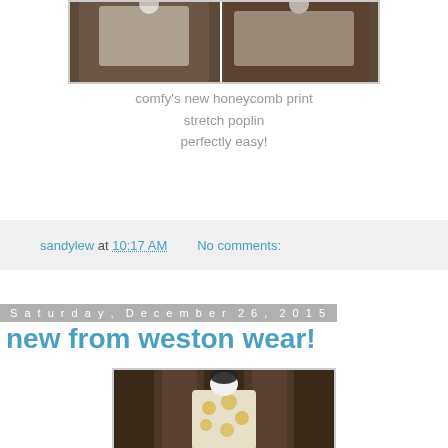[Figure (photo): Two mannequins wearing honeycomb print stretch poplin garments against a dark background]
comfy's new honeycomb print
stretch poplin
perfectly easy!
sandylew at 10:17 AM   No comments:
Saturday, December 26, 2015
new from weston wear!
[Figure (photo): Mannequin wearing a light-colored top with large dot/circle print pattern, with dark curtain background]